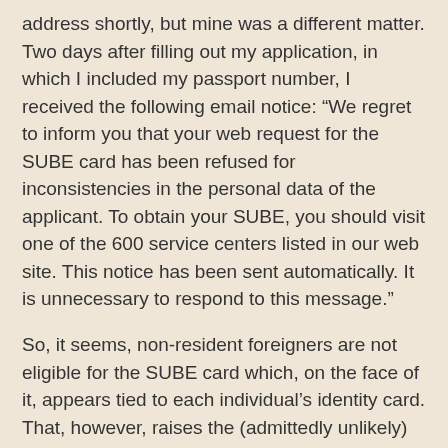address shortly, but mine was a different matter. Two days after filling out my application, in which I included my passport number, I received the following email notice: “We regret to inform you that your web request for the SUBE card has been refused for inconsistencies in the personal data of the applicant. To obtain your SUBE, you should visit one of the 600 service centers listed in our web site. This notice has been sent automatically. It is unnecessary to respond to this message.”
So, it seems, non-resident foreigners are not eligible for the SUBE card which, on the face of it, appears tied to each individual’s identity card. That, however, raises the (admittedly unlikely) specter of station attendants and bus drivers checking each rider’s ID to assure that nobody was using another’s SUBE card. In practice, though I might not be able to get my own card, I expect to be able to use my wife’s, as I’m usually in town more often than she is. In fact, even when we’re traveling together, there’s no obstacle in using the same Subte ticket by just passing it back across the turnstile (no ticket is necessary to exit the system).